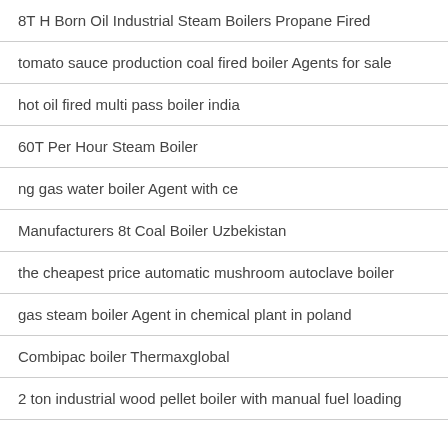8T H Born Oil Industrial Steam Boilers Propane Fired
tomato sauce production coal fired boiler Agents for sale
hot oil fired multi pass boiler india
60T Per Hour Steam Boiler
ng gas water boiler Agent with ce
Manufacturers 8t Coal Boiler Uzbekistan
the cheapest price automatic mushroom autoclave boiler
gas steam boiler Agent in chemical plant in poland
Combipac boiler Thermaxglobal
2 ton industrial wood pellet boiler with manual fuel loading